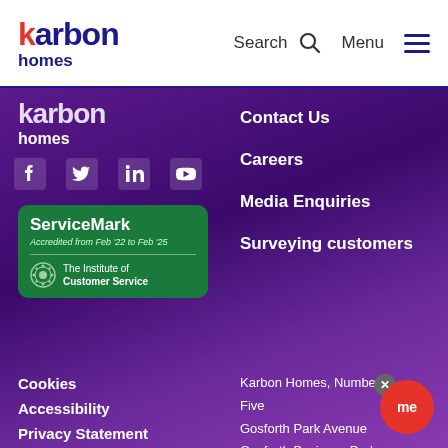karbon homes | Search | Menu
[Figure (logo): Karbon Homes logo in purple footer area]
[Figure (infographic): Social media icons: Facebook, Twitter, LinkedIn, YouTube]
[Figure (logo): ServiceMark Accredited from Feb '22 to Feb '25 - The Institute of Customer Service]
Contact Us
Careers
Media Enquiries
Surveying customers
Cookies
Accessibility
Privacy Statement
Karbon Homes, Number Five Gosforth Park Avenue Gosforth Business Park Newcastle upon Tyne